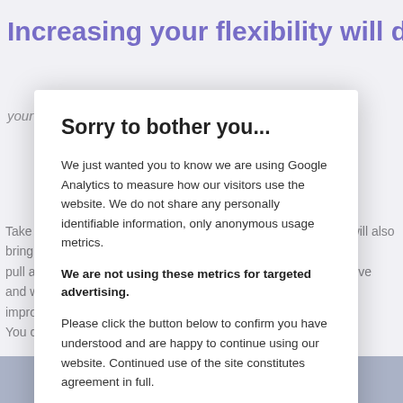Increasing your flexibility will decrease your handicap
Take away from your handicap by finding programming which will also improve pull. Strong, why and exercise, Pilates will also help improve and when will help your body to stay youthful, improve your posture and help you have a smooth golf swing. You can decrease those fine-free joints and improve your
This will result in to understand you have to achieve to the e aches in your body, improve your flexibility and strengthen
You will continue to continue to play the game you love, at your peak golf fitness.
[Figure (screenshot): Cookie consent modal overlay with title 'Sorry to bother you...', privacy notice about Google Analytics usage, bold statement about not using metrics for targeted advertising, and an 'I Understand' button.]
Sorry to bother you...
We just wanted you to know we are using Google Analytics to measure how our visitors use the website. We do not share any personally identifiable information, only anonymous usage metrics.
We are not using these metrics for targeted advertising.
Please click the button below to confirm you have understood and are happy to continue using our website. Continued use of the site constitutes agreement in full.